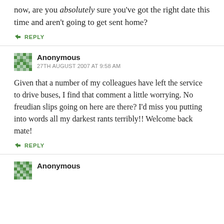now, are you absolutely sure you've got the right date this time and aren't going to get sent home?
↳ REPLY
Anonymous
27TH AUGUST 2007 AT 9:58 AM
Given that a number of my colleagues have left the service to drive buses, I find that comment a little worrying. No freudian slips going on here are there? I'd miss you putting into words all my darkest rants terribly!! Welcome back mate!
↳ REPLY
Anonymous